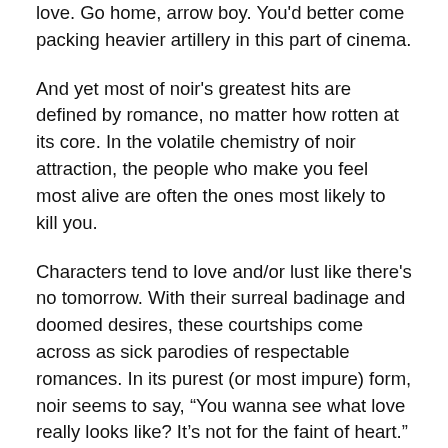love. Go home, arrow boy. You'd better come packing heavier artillery in this part of cinema.
And yet most of noir's greatest hits are defined by romance, no matter how rotten at its core. In the volatile chemistry of noir attraction, the people who make you feel most alive are often the ones most likely to kill you.
Characters tend to love and/or lust like there's no tomorrow. With their surreal badinage and doomed desires, these courtships come across as sick parodies of respectable romances. In its purest (or most impure) form, noir seems to say, “You wanna see what love really looks like? It’s not for the faint of heart.” The unhealthy eroticism of noir serves as a cathartic escape valve for the negative impulses lurking inside all of us—
Oh, I give up. Let's dispense with the polite thinking, shall